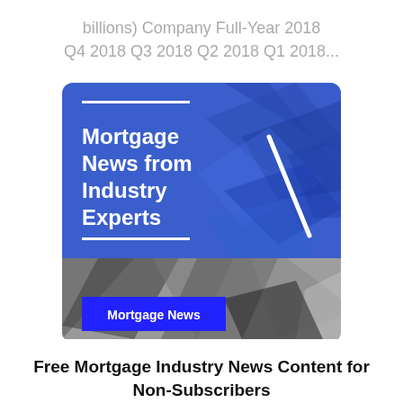billions) Company Full-Year 2018 Q4 2018 Q3 2018 Q2 2018 Q1 2018...
[Figure (illustration): Promotional card with blue geometric triangle background in upper portion and gray geometric triangle background in lower portion. White bold text reads 'Mortgage News from Industry Experts' with white horizontal lines above and below, and a diagonal white slash graphic on the right. A blue badge at the bottom left reads 'Mortgage News'.]
Free Mortgage Industry News Content for Non-Subscribers